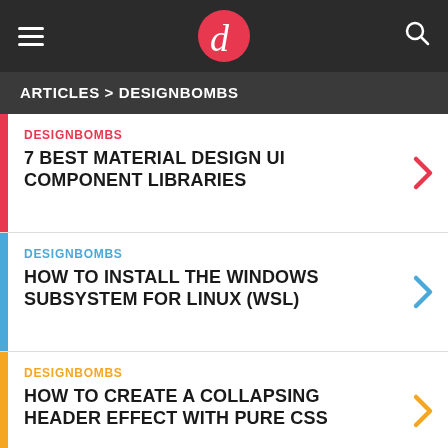d — designbombs navigation header
ARTICLES > DESIGNBOMBS
DESIGNBOMBS — 7 BEST MATERIAL DESIGN UI COMPONENT LIBRARIES
DESIGNBOMBS — HOW TO INSTALL THE WINDOWS SUBSYSTEM FOR LINUX (WSL)
DESIGNBOMBS — HOW TO CREATE A COLLAPSING HEADER EFFECT WITH PURE CSS